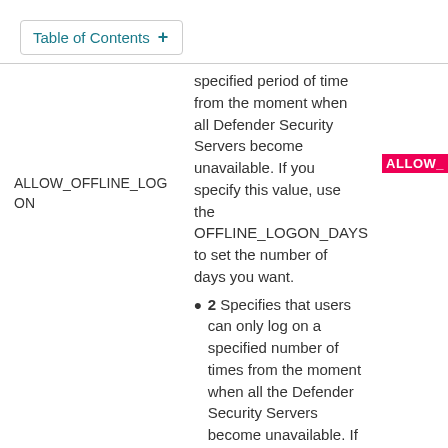Table of Contents +
specified period of time from the moment when all Defender Security Servers become unavailable. If you specify this value, use the OFFLINE_LOGON_DAYS to set the number of days you want.
ALLOW_OFFLINE_LOGON
2 Specifies that users can only log on a specified number of times from the moment when all the Defender Security Servers become unavailable. If you specify this value, use the OFFLINE_LOGON_COUNT to set the number of times you want.
ALLOW_